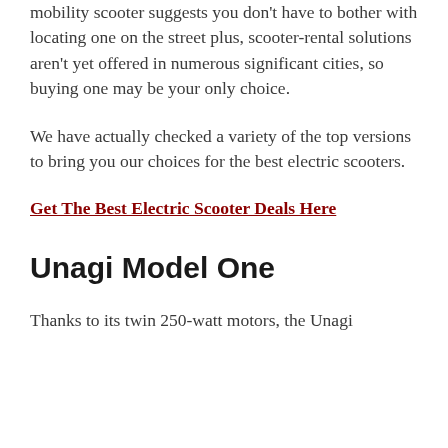mobility scooter suggests you don't have to bother with locating one on the street plus, scooter-rental solutions aren't yet offered in numerous significant cities, so buying one may be your only choice.
We have actually checked a variety of the top versions to bring you our choices for the best electric scooters.
Get The Best Electric Scooter Deals Here
Unagi Model One
Thanks to its twin 250-watt motors, the Unagi